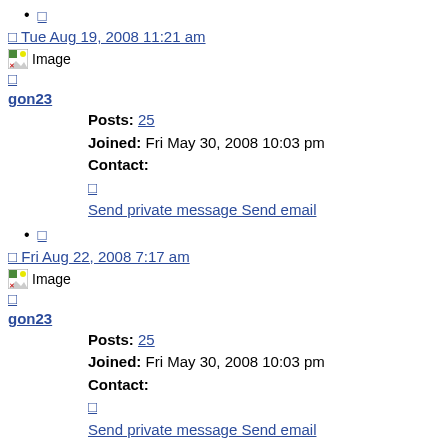🔗
🔗 Tue Aug 19, 2008 11:21 am
[Figure (other): Image placeholder icon with broken image symbol]
🔗
gon23
Posts: 25
Joined: Fri May 30, 2008 10:03 pm
Contact:
🔗
Send private message Send email
🔗
🔗 Fri Aug 22, 2008 7:17 am
[Figure (other): Image placeholder icon with broken image symbol]
🔗
gon23
Posts: 25
Joined: Fri May 30, 2008 10:03 pm
Contact:
🔗
Send private message Send email
🔗